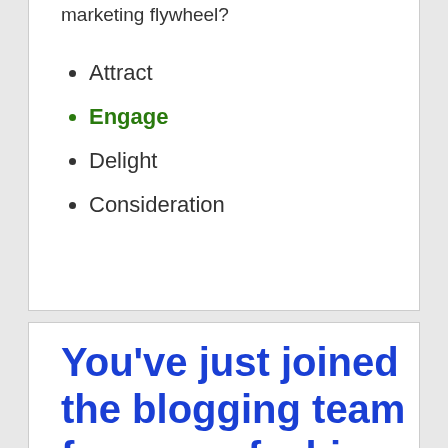marketing flywheel?
Attract
Engage
Delight
Consideration
You've just joined the blogging team for a new fashion